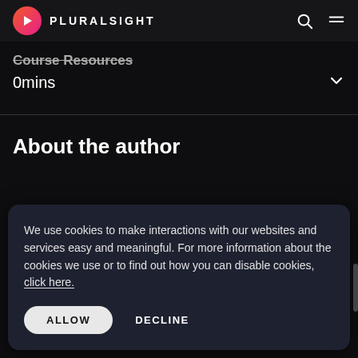[Figure (logo): Pluralsight logo with pink/orange gradient circle icon and PLURALSIGHT text]
Course Resources
0mins
About the author
We use cookies to make interactions with our websites and services easy and meaningful. For more information about the cookies we use or to find out how you can disable cookies, click here.